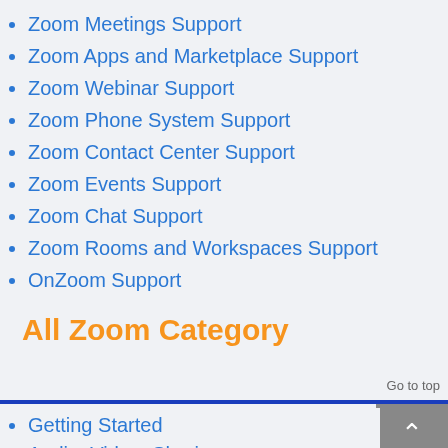Zoom Meetings Support
Zoom Apps and Marketplace Support
Zoom Webinar Support
Zoom Phone System Support
Zoom Contact Center Support
Zoom Events Support
Zoom Chat Support
Zoom Rooms and Workspaces Support
OnZoom Support
All Zoom Category
Go to top
Getting Started
Audio, Video, Sharing